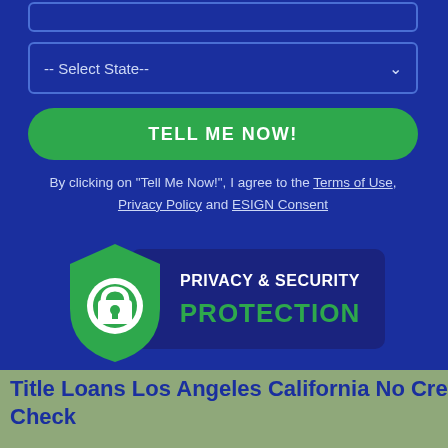-- Select State--
TELL ME NOW!
By clicking on "Tell Me Now!", I agree to the Terms of Use, Privacy Policy and ESIGN Consent
[Figure (logo): Privacy & Security Protection badge with green shield and padlock icon]
Title Loans Los Angeles California No Credit Check